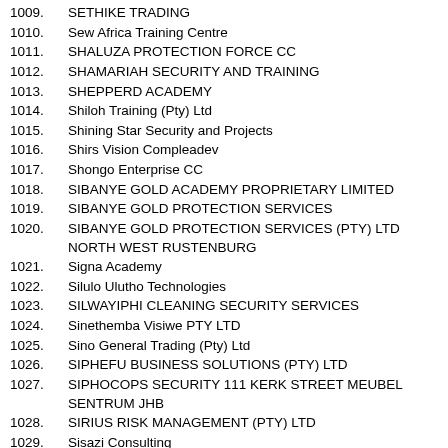1009. SETHIKE TRADING
1010. Sew Africa Training Centre
1011. SHALUZA PROTECTION FORCE CC
1012. SHAMARIAH SECURITY AND TRAINING
1013. SHEPPERD ACADEMY
1014. Shiloh Training (Pty) Ltd
1015. Shining Star Security and Projects
1016. Shirs Vision Compleadev
1017. Shongo Enterprise CC
1018. SIBANYE GOLD ACADEMY PROPRIETARY LIMITED
1019. SIBANYE GOLD PROTECTION SERVICES
1020. SIBANYE GOLD PROTECTION SERVICES (PTY) LTD NORTH WEST RUSTENBURG
1021. Signa Academy
1022. Silulo Ulutho Technologies
1023. SILWAYIPHI CLEANING SECURITY SERVICES
1024. Sinethemba Visiwe PTY LTD
1025. Sino General Trading (Pty) Ltd
1026. SIPHEFU BUSINESS SOLUTIONS (PTY) LTD
1027. SIPHOCOPS SECURITY 111 KERK STREET MEUBEL SENTRUM JHB
1028. SIRIUS RISK MANAGEMENT (PTY) LTD
1029. Sisazi Consulting
1030. SISODZWA CONSULTING
1031. SIT INVESTMENT HOLDINGS
1032. SITHUTHUKILE TRUST
1033. SIVA SECURITY SERVICES